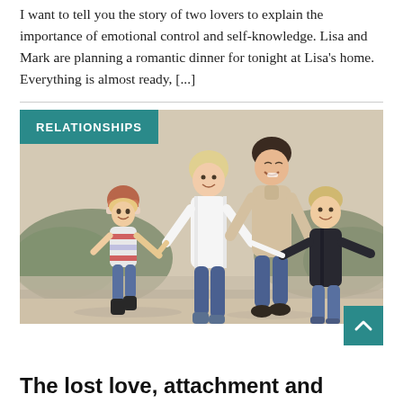I want to tell you the story of two lovers to explain the importance of emotional control and self-knowledge. Lisa and Mark are planning a romantic dinner for tonight at Lisa's home. Everything is almost ready, [...]
[Figure (photo): Photo of a happy family — two adults and two children — running joyfully on a beach. The woman has blonde hair and wears a white jacket. The man wears a beige sweater. A young girl wears a striped top and a woolly hat. A boy wears a dark jacket. They are all laughing and running. The background shows a beach and hills. A teal 'RELATIONSHIPS' badge overlays the top-left corner of the image.]
The lost love, attachment and